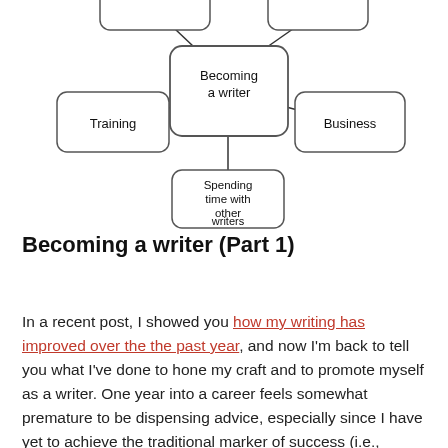[Figure (flowchart): Mind map / concept map showing 'Becoming a writer' as the central node, connected to surrounding nodes: two partially visible nodes at top, 'Training' on the left, 'Business' on the right, and 'Spending time with other writers' at the bottom.]
Becoming a writer (Part 1)
In a recent post, I showed you how my writing has improved over the the past year, and now I'm back to tell you what I've done to hone my craft and to promote myself as a writer. One year into a career feels somewhat premature to be dispensing advice, especially since I have yet to achieve the traditional marker of success (i.e., publishing my novel), but I